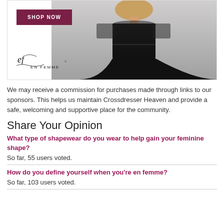[Figure (photo): Advertisement banner showing a woman wearing a black dress with sheer neckline and short sleeves. Contains a 'SHOP NOW' button in dark red/maroon and an En Femme logo.]
We may receive a commission for purchases made through links to our sponsors. This helps us maintain Crossdresser Heaven and provide a safe, welcoming and supportive place for the community.
Share Your Opinion
What type of shapewear do you wear to help gain your feminine shape?
So far, 55 users voted.
How do you define yourself when you're en femme?
So far, 103 users voted.